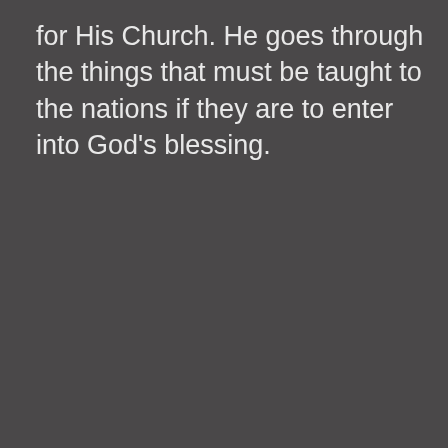for His Church. He goes through the things that must be taught to the nations if they are to enter into God's blessing.